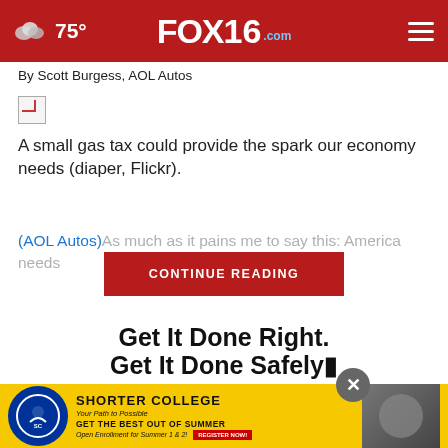FOX16.com — 75°
By Scott Burgess, AOL Autos
[Figure (photo): Broken image placeholder thumbnail]
A small gas tax could provide the spark our economy needs (diaper, Flickr).
(AOL Autos)As much as it pains me to say this: America needs
CONTINUE READING
[Figure (infographic): Advertisement: Get It Done Right. Get It Done Safely. — Shorter College banner ad with yellow background, college logo, and student photos.]